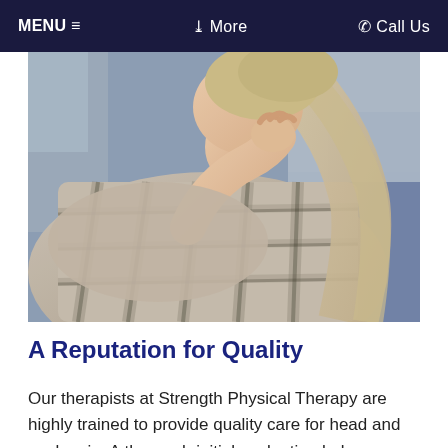MENU ≡   ❯ More   ☎ Call Us
[Figure (photo): A woman in a plaid flannel shirt sitting hunched over, holding her neck/head with her hand, appearing to be in pain. Blurred bedroom background.]
A Reputation for Quality
Our therapists at Strength Physical Therapy are highly trained to provide quality care for head and neck pain. A thorough initial evaluation helps us identify movement dysfunction that can be